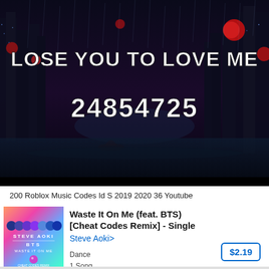[Figure (screenshot): Dark fantasy cityscape night scene with red lanterns and rain, showing text 'LOSE YOU TO LOVE ME' and '24854725' in white bold font — a Roblox music code image thumbnail]
200 Roblox Music Codes Id S 2019 2020 36 Youtube
[Figure (illustration): Album art for 'Waste It On Me (feat. BTS) [Cheat Codes Remix] - Single' by Steve Aoki showing colorful gradient background with circles and text 'STEVE AOKI BTS WASTE IT ON ME CHEAT CODES REMIX']
Waste It On Me (feat. BTS) [Cheat Codes Remix] - Single
Steve Aoki>

Dance
1 Song
Released 14 Dec 2018
$2.19